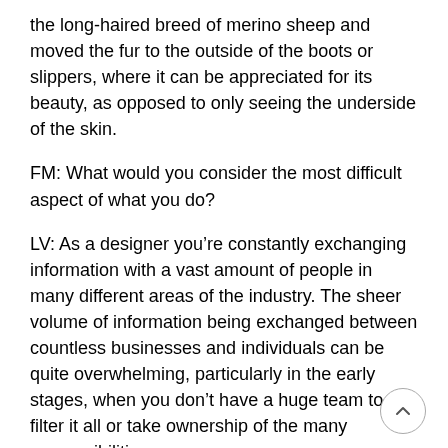the long-haired breed of merino sheep and moved the fur to the outside of the boots or slippers, where it can be appreciated for its beauty, as opposed to only seeing the underside of the skin.
FM: What would you consider the most difficult aspect of what you do?
LV: As a designer you’re constantly exchanging information with a vast amount of people in many different areas of the industry. The sheer volume of information being exchanged between countless businesses and individuals can be quite overwhelming, particularly in the early stages, when you don’t have a huge team to filter it all or take ownership of the many responsibilities.